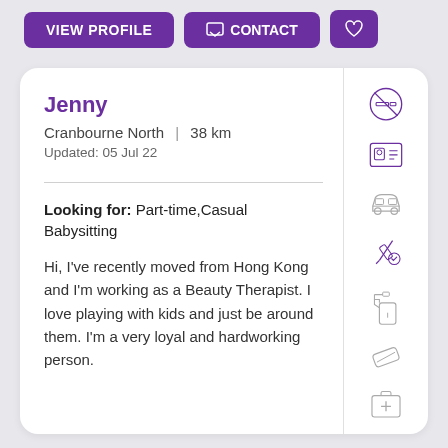[Figure (screenshot): Top bar with VIEW PROFILE, CONTACT, and heart buttons in purple]
Jenny
Cranbourne North | 38 km
Updated: 05 Jul 22
Looking for: Part-time,Casual Babysitting
Hi, I've recently moved from Hong Kong and I'm working as a Beauty Therapist. I love playing with kids and just be around them. I'm a very loyal and hardworking person.
[Figure (illustration): Icons on right: no smoking, ID card, car, syringe/vaccination, spray bottle, bandage/eraser, first aid kit]